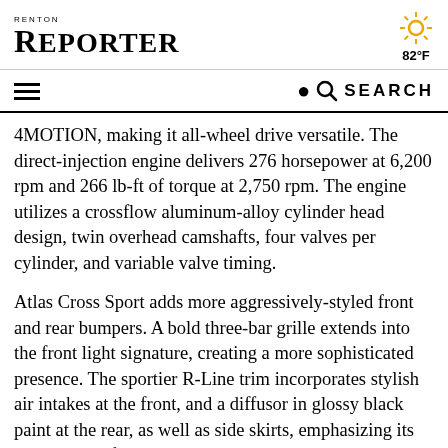RENTON REPORTER | 82°F
4MOTION, making it all-wheel drive versatile. The direct-injection engine delivers 276 horsepower at 6,200 rpm and 266 lb-ft of torque at 2,750 rpm. The engine utilizes a crossflow aluminum-alloy cylinder head design, twin overhead camshafts, four valves per cylinder, and variable valve timing.
Atlas Cross Sport adds more aggressively-styled front and rear bumpers. A bold three-bar grille extends into the front light signature, creating a more sophisticated presence. The sportier R-Line trim incorporates stylish air intakes at the front, and a diffusor in glossy black paint at the rear, as well as side skirts, emphasizing its premium profile.